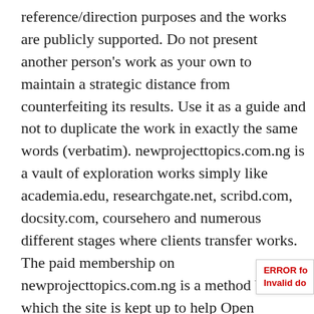reference/direction purposes and the works are publicly supported. Do not present another person's work as your own to maintain a strategic distance from counterfeiting its results. Use it as a guide and not to duplicate the work in exactly the same words (verbatim). newprojecttopics.com.ng is a vault of exploration works simply like academia.edu, researchgate.net, scribd.com, docsity.com, coursehero and numerous different stages where clients transfer works. The paid membership on newprojecttopics.com.ng is a method by which the site is kept up to help Open Education. In the event that you see your work posted here, and you need it to be eliminated/credited, it would be ideal if
ERROR fo
Invalid do